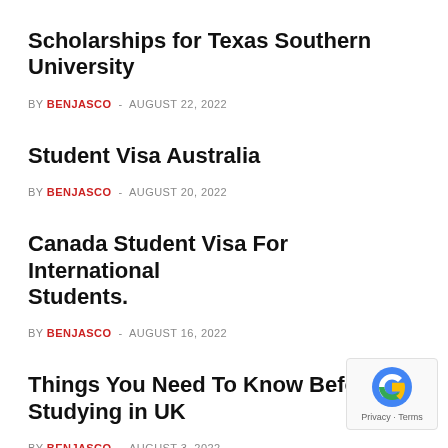Scholarships for Texas Southern University
BY BENJASCO - AUGUST 22, 2022
Student Visa Australia
BY BENJASCO - AUGUST 20, 2022
Canada Student Visa For International Students.
BY BENJASCO - AUGUST 16, 2022
Things You Need To Know Before Studying in UK
BY BENJASCO - AUGUST 3, 2022
Scholarships in Texas